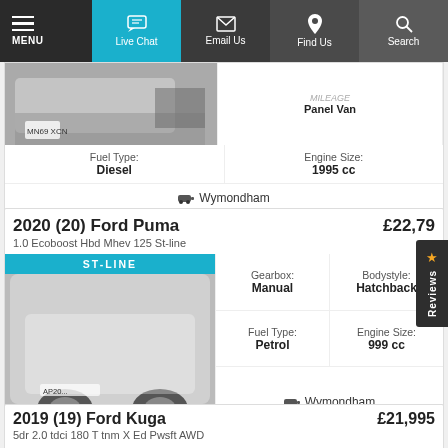MENU | Live Chat | Email Us | Find Us | Search
[Figure (photo): White Ford Transit van with plate MN69 XCN, partial view at top of page]
| Fuel Type | Engine Size |
| --- | --- |
| Diesel | 1995 cc |
Wymondham
2020 (20) Ford Puma
£22,79
1.0 Ecoboost Hbd Mhev 125 St-line
[Figure (photo): White Ford Puma with ST-LINE badge, plate AP20...]
| Gearbox | Bodystyle | Fuel Type | Engine Size |
| --- | --- | --- | --- |
| Manual | Hatchback | Petrol | 999 cc |
Wymondham
2019 (19) Ford Kuga
£21,995
5dr 2.0 tdci 180 T tnm X Ed Pwsft AWD